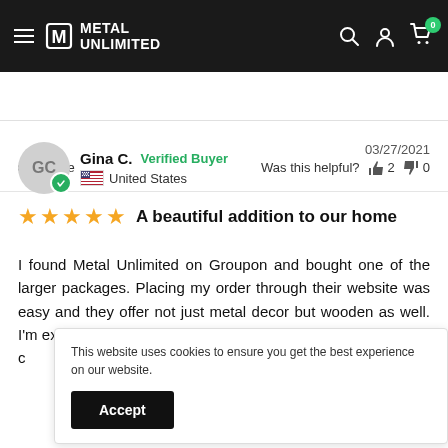Metal Unlimited — navigation bar with logo, search, account, cart (0)
Share  |  Was this helpful?  👍 2  👎 0
Gina C.  Verified Buyer  —  United States  —  03/27/2021
★★★★★  A beautiful addition to our home
I found Metal Unlimited on Groupon and bought one of the larger packages. Placing my order through their website was easy and they offer not just metal decor but wooden as well. I'm extremely pleased with my experience and purchase. I will c
This website uses cookies to ensure you get the best experience on our website.  [Accept]